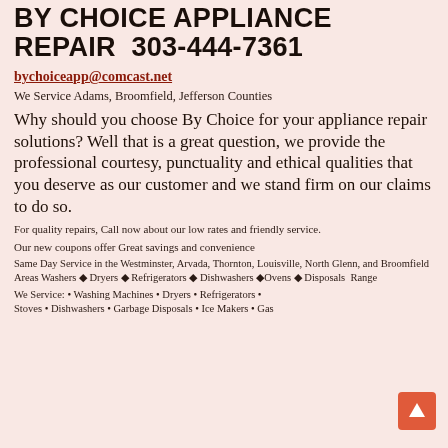BY CHOICE APPLIANCE REPAIR  303-444-7361
bychoiceapp@comcast.net
We Service Adams, Broomfield, Jefferson Counties
Why should you choose By Choice for your appliance repair solutions? Well that is a great question, we provide the professional courtesy, punctuality and ethical qualities that you deserve as our customer and we stand firm on our claims to do so.
For quality repairs, Call now about our low rates and friendly service.
Our new coupons offer Great savings and convenience
Same Day Service in the Westminster, Arvada, Thornton, Louisville, North Glenn, and Broomfield Areas Washers ♦ Dryers ♦ Refrigerators ♦ Dishwashers ♦Ovens ♦ Disposals  Range
We Service: • Washing Machines • Dryers • Refrigerators • Stoves • Dishwashers • Garbage Disposals • Ice Makers • Gas